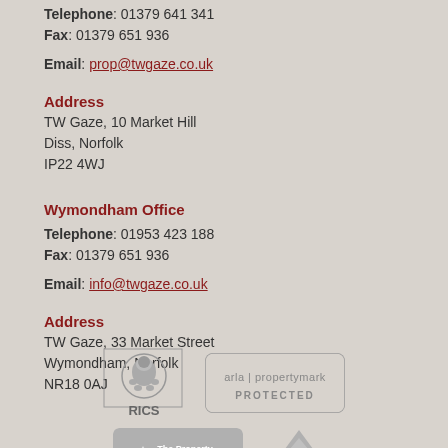Telephone: 01379 641 541
Fax: 01379 651 936
Email: prop@twgaze.co.uk
Address
TW Gaze, 10 Market Hill
Diss, Norfolk
IP22 4WJ
Wymondham Office
Telephone: 01953 423 188
Fax: 01379 651 936
Email: info@twgaze.co.uk
Address
TW Gaze, 33 Market Street
Wymondham, Norfolk
NR18 0AJ
[Figure (logo): RICS logo]
[Figure (logo): arla propertymark PROTECTED logo]
[Figure (logo): The Property Ombudsman logo]
[Figure (logo): TSI logo]